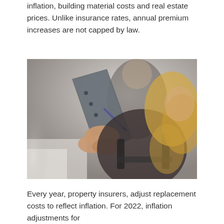inflation, building material costs and real estate prices. Unlike insurance rates, annual premium increases are not capped by law.
[Figure (photo): A woman with blonde hair wearing work gear and a tool belt, holding a clipboard and writing with a pen. A blurred male worker is visible in the background. The scene appears to be an inspection or assessment setting.]
Every year, property insurers, adjust replacement costs to reflect inflation. For 2022, inflation adjustments for